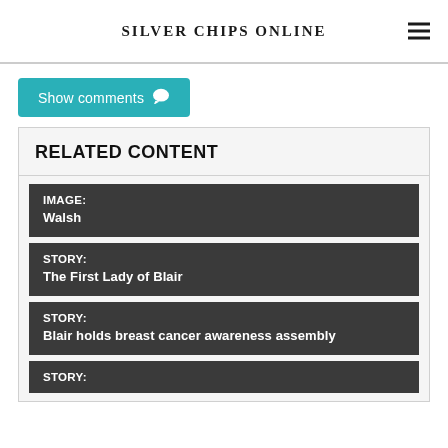Silver Chips Online
Show comments
RELATED CONTENT
IMAGE: Walsh
STORY: The First Lady of Blair
STORY: Blair holds breast cancer awareness assembly
STORY: